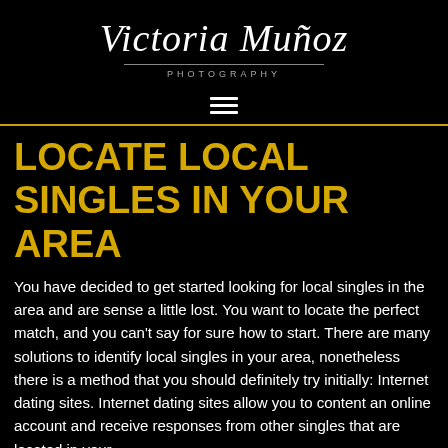[Figure (logo): Victoria Muñoz Photography logo — handwritten script text in white over black background with thin horizontal divider and 'PHOTOGRAPHY' subtitle in spaced caps]
[Figure (other): Hamburger menu icon — three horizontal white lines]
LOCATE LOCAL SINGLES IN YOUR AREA
You have decided to get started looking for local singles in the area and are sense a little lost. You want to locate the perfect match, and you can't say for sure how to start. There are many solutions to identify local singles in your area, nonetheless there is a method that you should definitely try initially: Internet dating sites. Internet dating sites allow you to content an online account and receive responses from other singles that are located in your